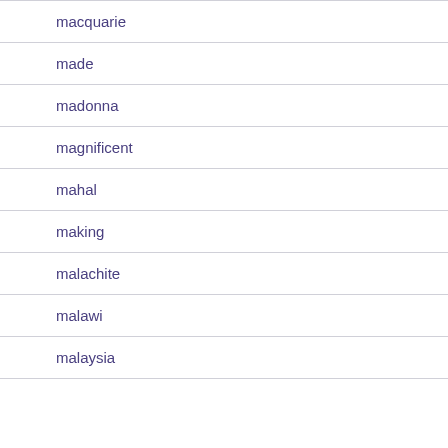macquarie
made
madonna
magnificent
mahal
making
malachite
malawi
malaysia